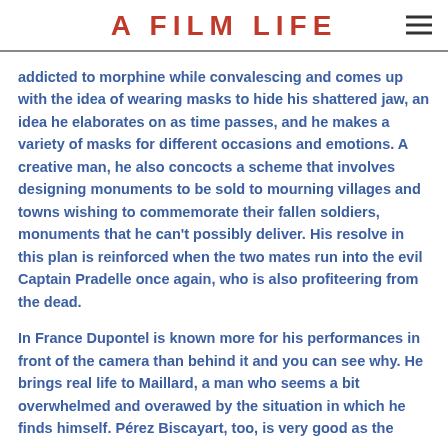A FILM LIFE
addicted to morphine while convalescing and comes up with the idea of wearing masks to hide his shattered jaw, an idea he elaborates on as time passes, and he makes a variety of masks for different occasions and emotions. A creative man, he also concocts a scheme that involves designing monuments to be sold to mourning villages and towns wishing to commemorate their fallen soldiers, monuments that he can't possibly deliver. His resolve in this plan is reinforced when the two mates run into the evil Captain Pradelle once again, who is also profiteering from the dead.
In France Dupontel is known more for his performances in front of the camera than behind it and you can see why. He brings real life to Maillard, a man who seems a bit overwhelmed and overawed by the situation in which he finds himself. Pérez Biscayart, too, is very good as the